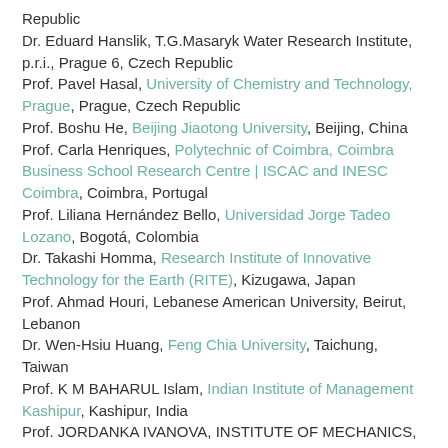Republic
Dr. Eduard Hanslik, T.G.Masaryk Water Research Institute, p.r.i., Prague 6, Czech Republic
Prof. Pavel Hasal, University of Chemistry and Technology, Prague, Prague, Czech Republic
Prof. Boshu He, Beijing Jiaotong University, Beijing, China
Prof. Carla Henriques, Polytechnic of Coimbra, Coimbra Business School Research Centre | ISCAC and INESC Coimbra, Coimbra, Portugal
Prof. Liliana Hernández Bello, Universidad Jorge Tadeo Lozano, Bogotá, Colombia
Dr. Takashi Homma, Research Institute of Innovative Technology for the Earth (RITE), Kizugawa, Japan
Prof. Ahmad Houri, Lebanese American University, Beirut, Lebanon
Dr. Wen-Hsiu Huang, Feng Chia University, Taichung, Taiwan
Prof. K M BAHARUL Islam, Indian Institute of Management Kashipur, Kashipur, India
Prof. JORDANKA IVANOVA, INSTITUTE OF MECHANICS,